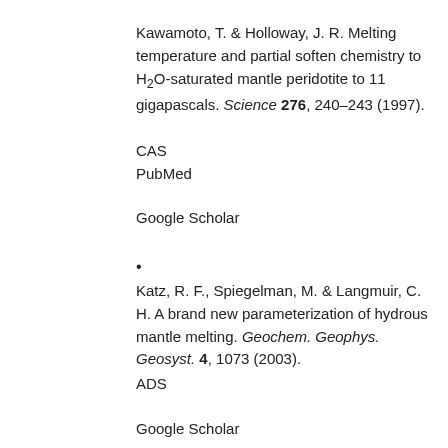Kawamoto, T. & Holloway, J. R. Melting temperature and partial soften chemistry to H₂O-saturated mantle peridotite to 11 gigapascals. Science 276, 240–243 (1997).
CAS
PubMed
Google Scholar
•
Katz, R. F., Spiegelman, M. & Langmuir, C. H. A brand new parameterization of hydrous mantle melting. Geochem. Geophys. Geosyst. 4, 1073 (2003).
ADS
Google Scholar
•
Hirschmann, M. M. & Dasgupta, R. The H/C ratios of Earth's near-surface and deep reservoirs, and penalties